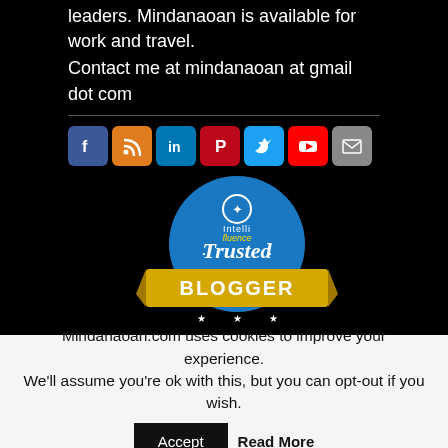leaders. Mindanaoan is available for work and travel. Contact me at mindanaoan at gmail dot com
[Figure (other): Row of social media icons: Facebook, RSS, LinkedIn, Pinterest, Twitter, YouTube, Email]
[Figure (illustration): Intellifluence Trusted Blogger badge - circular blue badge with gold banner]
[Figure (illustration): Very Popular Intellifluence badge - circular gold badge with thumbs up icon]
Mindanaoan.com uses cookies to improve your experience. We'll assume you're ok with this, but you can opt-out if you wish.
Accept  Read More